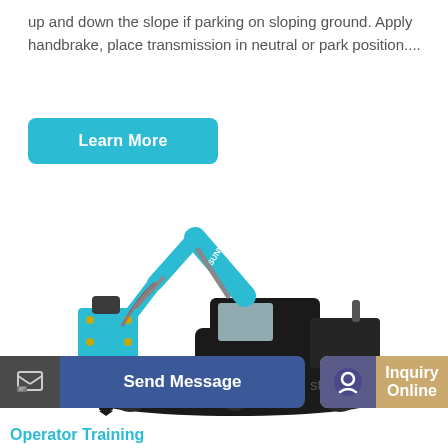up and down the slope if parking on sloping ground. Apply handbrake, place transmission in neutral or park position....
Learn More
[Figure (photo): A teal/turquoise Sunward hydraulic excavator with a hydraulic breaker attachment, shown on a white background. The excavator has black tracks and a dark cab.]
Send Message
stee
Inquiry Online
Operator Training